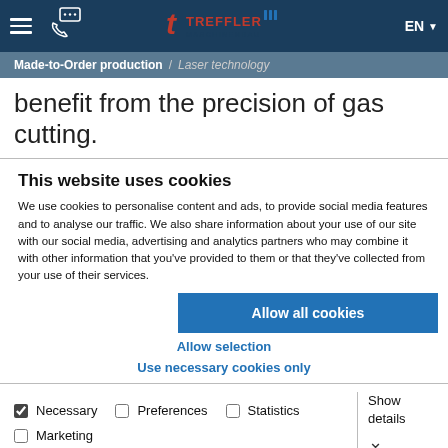Treffler Maschinenbau — EN
Made-to-Order production / Laser technology
benefit from the precision of gas cutting.
This website uses cookies
We use cookies to personalise content and ads, to provide social media features and to analyse our traffic. We also share information about your use of our site with our social media, advertising and analytics partners who may combine it with other information that you've provided to them or that they've collected from your use of their services.
Allow all cookies
Allow selection
Use necessary cookies only
Necessary  Preferences  Statistics  Marketing  Show details